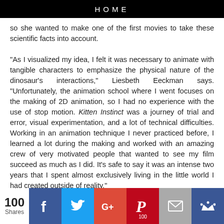HOME
so she wanted to make one of the first movies to take these scientific facts into account.

“As I visualized my idea, I felt it was necessary to animate with tangible characters to emphasize the physical nature of the dinosaur's interactions,” Liesbeth Eeckman says. “Unfortunately, the animation school where I went focuses on the making of 2D animation, so I had no experience with the use of stop motion. Kitten Instinct was a journey of trial and error, visual experimentation, and a lot of technical difficulties. Working in an animation technique I never practiced before, I learned a lot during the making and worked with an amazing crew of very motivated people that wanted to see my film succeed as much as I did. It’s safe to say it was an intense two years that I spent almost exclusively living in the little world I had created outside of reality.”
100 Shares | Facebook | Twitter | Google+ | Pinterest 100 | Email | Crown